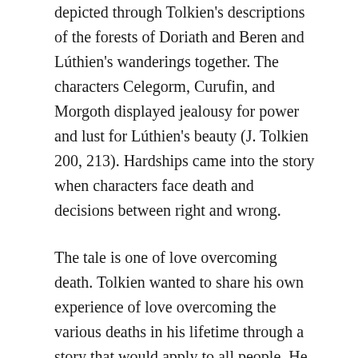depicted through Tolkien's descriptions of the forests of Doriath and Beren and Lúthien's wanderings together. The characters Celegorm, Curufin, and Morgoth displayed jealousy for power and lust for Lúthien's beauty (J. Tolkien 200, 213). Hardships came into the story when characters face death and decisions between right and wrong.
The tale is one of love overcoming death. Tolkien wanted to share his own experience of love overcoming the various deaths in his lifetime through a story that would apply to all people. He worked on the story throughout his life: highlighting the sacrifices that characters made and the pain they went through to show the power of love over death. In the end, he created a beautiful story with many allegorical aspects of his life